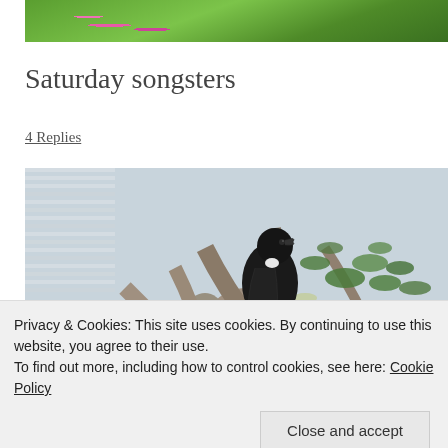[Figure (photo): Top portion of a photo showing pink roses and green leaves]
Saturday songsters
4 Replies
[Figure (photo): A black bird (likely a tui or similar songbird) perched in a tree with mossy, lichen-covered branches and green leaves, against a light background]
Privacy & Cookies: This site uses cookies. By continuing to use this website, you agree to their use.
To find out more, including how to control cookies, see here: Cookie Policy
Close and accept
[Figure (photo): Bottom strip of a photo showing orange/yellow fruit or flowers]